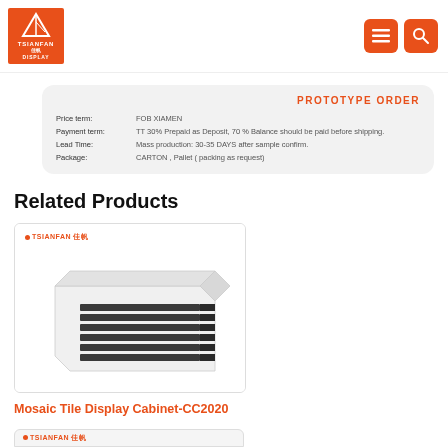TSIANFAN 佳帆 DISPLAY
| Field | Value |
| --- | --- |
| Price term: | FOB XIAMEN |
| Payment term: | TT 30% Prepaid as Deposit, 70 % Balance should be paid before shipping. |
| Lead Time: | Mass production: 30-35 DAYS after sample confirm. |
| Package: | CARTON , Pallet ( packing as request) |
Related Products
[Figure (photo): Mosaic Tile Display Cabinet product photo showing a white rectangular cabinet with horizontal striped tile samples visible on its front face. TSIANFAN 佳帆 logo in top left corner.]
Mosaic Tile Display Cabinet-CC2020
[Figure (photo): Second product card partially visible at bottom, showing TSIANFAN 佳帆 logo strip.]